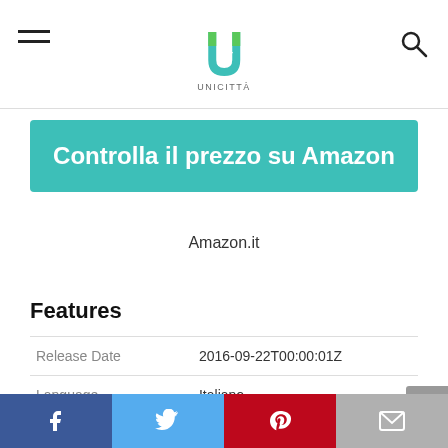UNICITTÀ logo header with hamburger menu and search icon
Controlla il prezzo su Amazon
Amazon.it
Features
|  |  |
| --- | --- |
| Release Date | 2016-09-22T00:00:01Z |
| Language | Italiano |
| Number Of Pages | 123 |
| Publication Date | 2016-09-22T00:00:01Z |
Facebook | Twitter | Pinterest | Email